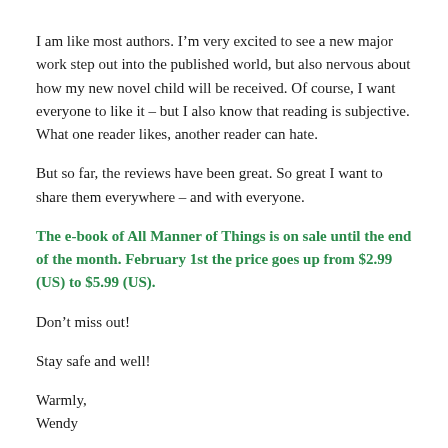I am like most authors. I’m very excited to see a new major work step out into the published world, but also nervous about how my new novel child will be received. Of course, I want everyone to like it – but I also know that reading is subjective. What one reader likes, another reader can hate.
But so far, the reviews have been great. So great I want to share them everywhere – and with everyone.
The e-book of All Manner of Things is on sale until the end of the month. February 1st the price goes up from $2.99 (US) to $5.99 (US).
Don’t miss out!
Stay safe and well!
Warmly,
Wendy
The reviews so far: